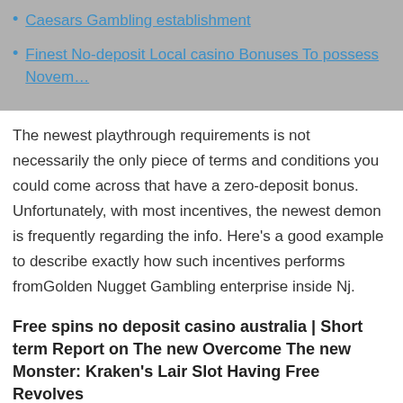Caesars Gambling establishment
Finest No-deposit Local casino Bonuses To possess Novem…
The newest playthrough requirements is not necessarily the only piece of terms and conditions you could come across that have a zero-deposit bonus. Unfortunately, with most incentives, the newest demon is frequently regarding the info. Here's a good example to describe exactly how such incentives performs fromGolden Nugget Gambling enterprise inside Nj.
Free spins no deposit casino australia | Short term Report on The new Overcome The new Monster: Kraken's Lair Slot Having Free Revolves
Here are some internet one list the best bonuses obtainable in on the internet casinos and decide from that point. #adOnly new clients off Australia, The newest Zealand and you can Canada qualify for it added bonus. Gambling establishment offers good